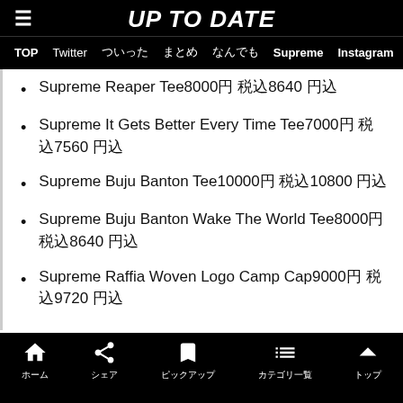UP TO DATE
TOP | Twitter | ついった | まとめ | なんでも | Supreme | Instagram | Ni
Supreme Reaper Tee8000円 税込8640 円込
Supreme It Gets Better Every Time Tee7000円 税込7560 円込
Supreme Buju Banton Tee10000円 税込10800 円込
Supreme Buju Banton Wake The World Tee8000円 税込8640 円込
Supreme Raffia Woven Logo Camp Cap9000円 税込9720 円込
ホーム | シェア | ピックアップ | カテゴリ一覧 | トップ